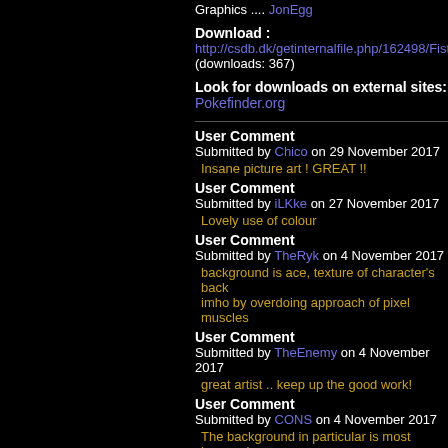Graphics .... JonEgg
Download :
http://csdb.dk/getinternalfile.php/162498/Fist_2
(downloads: 367)
Look for downloads on external sites:
Pokefinder.org
User Comment
Submitted by Chico on 29 November 2017
Insane picture art ! GREAT !!
User Comment
Submitted by iLKke on 27 November 2017
Lovely use of colour
User Comment
Submitted by TheRyk on 4 November 2017
background is ace, texture of character's back imho by overdoing approach of pixel muscles
User Comment
Submitted by TheEnemy on 4 November 2017
great artist .. keep up the good work!
User Comment
Submitted by CONS on 4 November 2017
The background in particular is most impressiv